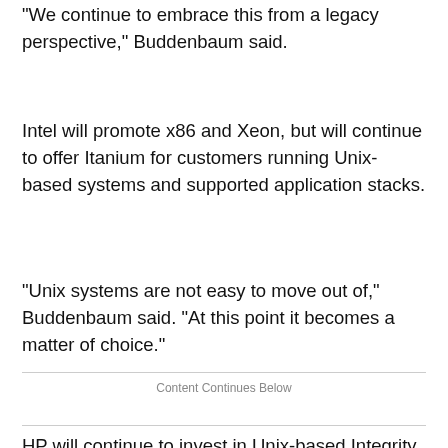"We continue to embrace this from a legacy perspective," Buddenbaum said.
Intel will promote x86 and Xeon, but will continue to offer Itanium for customers running Unix-based systems and supported application stacks.
"Unix systems are not easy to move out of," Buddenbaum said. "At this point it becomes a matter of choice."
Content Continues Below
HP will continue to invest in Unix-based Integrity